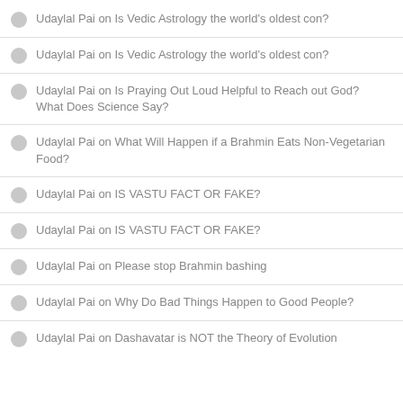Udaylal Pai on Is Vedic Astrology the world's oldest con?
Udaylal Pai on Is Vedic Astrology the world's oldest con?
Udaylal Pai on Is Praying Out Loud Helpful to Reach out God? What Does Science Say?
Udaylal Pai on What Will Happen if a Brahmin Eats Non-Vegetarian Food?
Udaylal Pai on IS VASTU FACT OR FAKE?
Udaylal Pai on IS VASTU FACT OR FAKE?
Udaylal Pai on Please stop Brahmin bashing
Udaylal Pai on Why Do Bad Things Happen to Good People?
Udaylal Pai on Dashavatar is NOT the Theory of Evolution